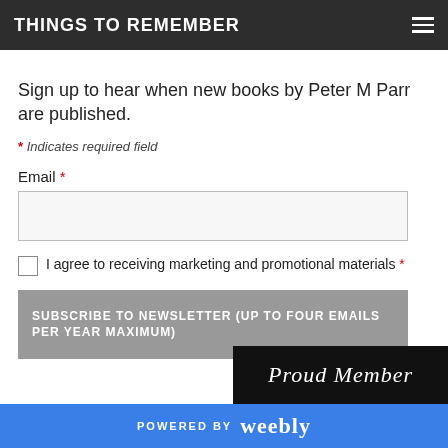THINGS TO REMEMBER
Sign up to hear when new books by Peter M Parr are published.
* Indicates required field
Email *
I agree to receiving marketing and promotional materials *
SUBSCRIBE TO NEWSLETTER (UP TO FOUR EMAILS PER YEAR MAXIMUM)
[Figure (other): Proud Member banner image, black background with white serif italic text]
POWERED BY weebly